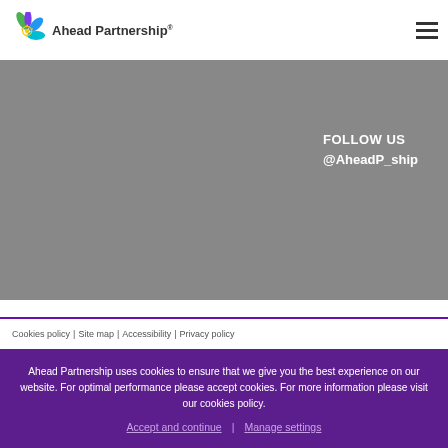Ahead Partnership
[Figure (illustration): Gray banner background with FOLLOW US @AheadP_ship text in white]
FOLLOW US @AheadP_ship
Cookies policy | Site map | Accessibility | Privacy policy
Ahead Partnership uses cookies to ensure that we give you the best experience on our website. For optimal performance please accept cookies. For more information please visit our cookies policy.
Accept and continue | Manage settings